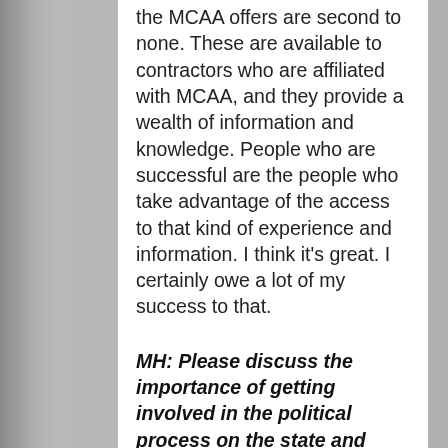the MCAA offers are second to none. These are available to contractors who are affiliated with MCAA, and they provide a wealth of information and knowledge. People who are successful are the people who take advantage of the access to that kind of experience and information. I think it's great. I certainly owe a lot of my success to that.
MH: Please discuss the importance of getting involved in the political process on the state and federal level.
Cables: Political action is more important now than ever before, particularly when regulatory or legislative changes can have